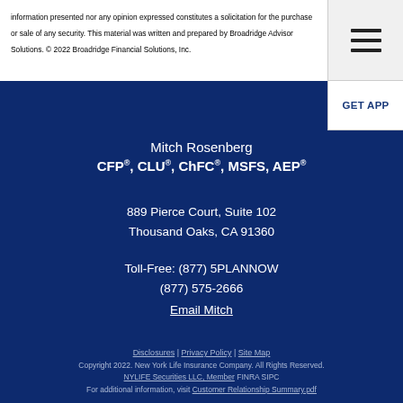information presented nor any opinion expressed constitutes a solicitation for the purchase or sale of any security. This material was written and prepared by Broadridge Advisor Solutions. © 2022 Broadridge Financial Solutions, Inc.
Mitch Rosenberg
CFP®, CLU®, ChFC®, MSFS, AEP®
889 Pierce Court, Suite 102
Thousand Oaks, CA 91360
Toll-Free: (877) 5PLANNOW
(877) 575-2666
Email Mitch
Disclosures | Privacy Policy | Site Map
Copyright 2022. New York Life Insurance Company. All Rights Reserved.
NYLIFE Securities LLC, Member FINRA SIPC
For additional information, visit Customer Relationship Summary.pdf